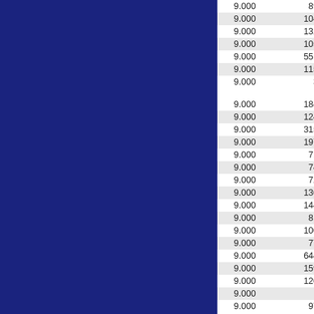| Name | Date | Value | Num |
| --- | --- | --- | --- |
| BARI2 | 2009-12-24 13 | 9.000 | 89 |
| BDMM4 | 2009-12-24 13 | 9.000 | 104 |
| BETM1 | 2009-12-24 13 | 9.000 | 132 |
| BLDW3 | 2009-12-24 13 | 9.000 | 105 |
| BOUC2 | 2009-12-25 00 | 9.000 | 551 |
| BRAM5 | 2009-12-24 13 | 9.000 | 115 |
| BRGM3 | 2009-12-24 13 | 9.000 | 3 |
|  |  |  |  |
| BRYS2 | 2009-12-24 13 | 9.000 | 184 |
| BTLI4 | 2009-12-24 14 | 9.000 | 124 |
| BURV2 | 2009-12-24 11 | 9.000 | 315 |
| BWDS2 | 2009-12-25 00 | 9.000 | 197 |
| BYFW3 | 2009-12-24 13 | 9.000 | 71 |
| CCOW3 | 2009-12-24 15 | 9.000 | 74 |
| CDGW3 | 2009-12-24 13 | 9.000 | 72 |
| CDLM4 | 2009-12-24 12 | 9.000 | 130 |
| CHLV1 | 2009-12-24 12 | 9.000 | 144 |
| CHPW3 | 2009-12-24 14 | 9.000 | 81 |
| CIYI4 | 2009-12-24 13 | 9.000 | 100 |
| CKSM4 | 2009-12-24 13 | 9.000 | 77 |
| CLVM8 | 2009-12-25 05 | 9.000 | 644 |
| CNNW3 | 2009-12-24 12 | 9.000 | 159 |
| CORV1 | 2009-12-24 12 | 9.000 | 120 |
| CQNA2 | 2009-12-24 18 | 9.000 |  |
| CRZW3 | 2009-12-25 01 | 9.000 | 97 |
|  |  |  |  |
| CSCM5 | 2009-12-25 06 | 9.000 | 96 |
| CSKA2 | 2009-12-25 06 | 9.000 |  |
| CTNV2 | 2009-12-24 16 | 9.000 | 56 |